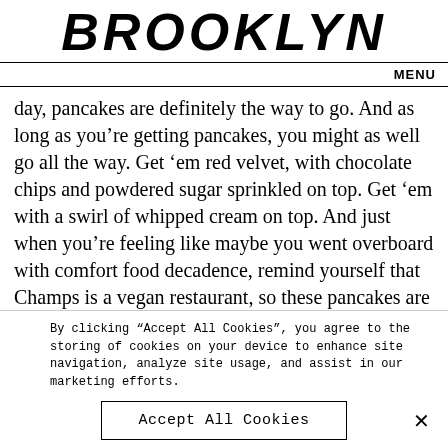BROOKLYN
MENU
day, pancakes are definitely the way to go. And as long as you’re getting pancakes, you might as well go all the way. Get ’em red velvet, with chocolate chips and powdered sugar sprinkled on top. Get ’em with a swirl of whipped cream on top. And just when you’re feeling like maybe you went overboard with comfort food decadence, remind yourself that Champs is a vegan restaurant, so these pancakes are probably the
By clicking “Accept All Cookies”, you agree to the storing of cookies on your device to enhance site navigation, analyze site usage, and assist in our marketing efforts.
Accept All Cookies